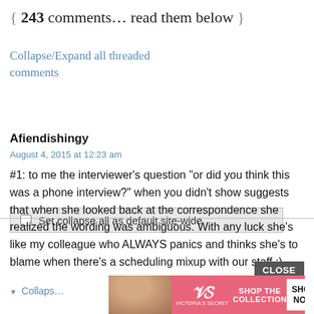{ 243 comments… read them below }
Collapse/Expand all threaded comments
Set collapse all as default site-wide
Afiendishingy
August 4, 2015 at 12:23 am
#1: to me the interviewer's question "or did you think this was a phone interview?" when you didn't show suggests that when she looked back at the correspondence she realized the wording was ambiguous. With any luck she's like my colleague who ALWAYS panics and thinks she's to blame when there's a scheduling mixup with our staff :)
[Figure (screenshot): Victoria's Secret advertisement banner showing a model, VS logo, 'Shop the Collection' text, and 'Shop Now' button on pink background]